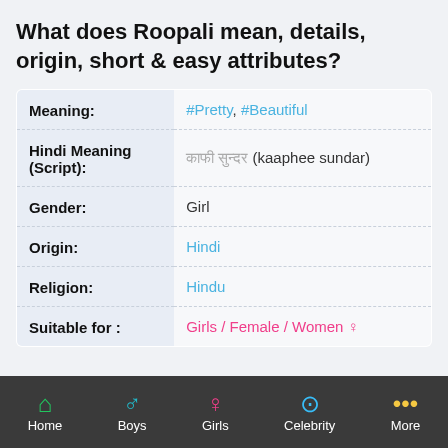What does Roopali mean, details, origin, short & easy attributes?
| Attribute | Value |
| --- | --- |
| Meaning: | #Pretty, #Beautiful |
| Hindi Meaning (Script): | काफी सुन्दर (kaaphee sundar) |
| Gender: | Girl |
| Origin: | Hindi |
| Religion: | Hindu |
| Suitable for : | Girls / Female / Women ♀ |
Home | Boys | Girls | Celebrity | More